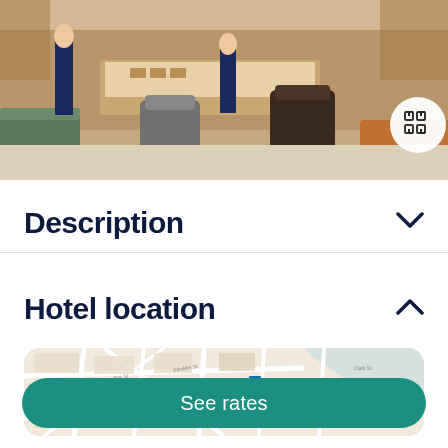[Figure (photo): Hotel lobby interior with staff member in uniform standing at desk, leather chairs and wooden furniture]
Description
Hotel location
[Figure (map): Street map showing hotel location with surrounding streets and blue water area on right side]
See rates